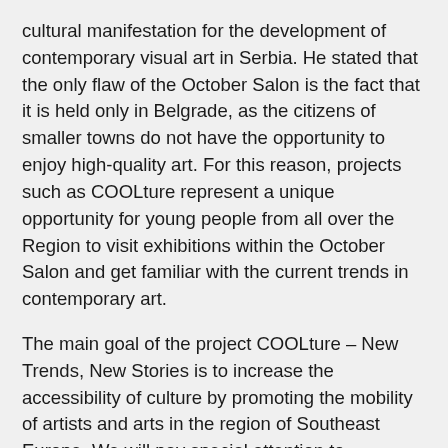cultural manifestation for the development of contemporary visual art in Serbia. He stated that the only flaw of the October Salon is the fact that it is held only in Belgrade, as the citizens of smaller towns do not have the opportunity to enjoy high-quality art. For this reason, projects such as COOLture represent a unique opportunity for young people from all over the Region to visit exhibitions within the October Salon and get familiar with the current trends in contemporary art.
The main goal of the project COOLture – New Trends, New Stories is to increase the accessibility of culture by promoting the mobility of artists and arts in the region of Southeast Europe. We will pay special attention to motivating artists and cultural institutions from our region to use digital communication channels to make their messages more accessible and attractive to young people,